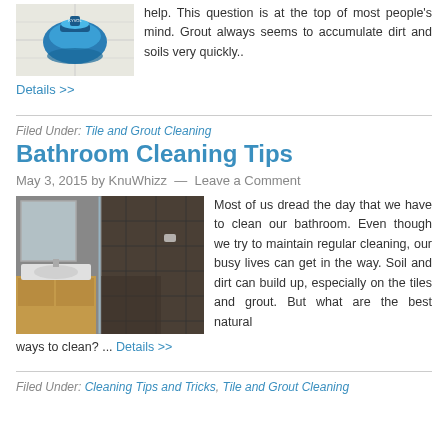[Figure (photo): Blue tile cleaning machine on white tile floor]
help. This question is at the top of most people’s mind. Grout always seems to accumulate dirt and soils very quickly..
Details >>
Filed Under: Tile and Grout Cleaning
Bathroom Cleaning Tips
May 3, 2015 by KnuWhizz — Leave a Comment
[Figure (photo): Bathroom interior with dark tiles, glass shower, sink and cabinet]
Most of us dread the day that we have to clean our bathroom. Even though we try to maintain regular cleaning, our busy lives can get in the way. Soil and dirt can build up, especially on the tiles and grout. But what are the best natural ways to clean? ... Details >>
Filed Under: Cleaning Tips and Tricks, Tile and Grout Cleaning